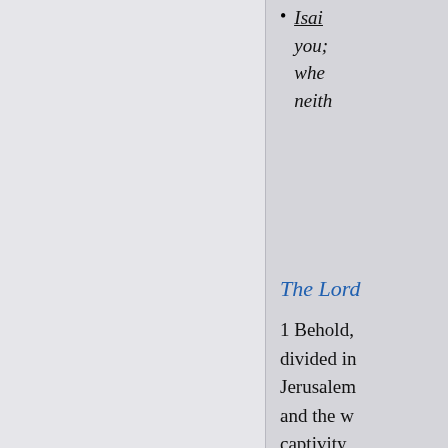Isaiah [truncated] you; whe neith
The Lord
1 Behold, divided in Jerusalem and the w captivity, city. 3 Th as when h
Deut with
Reve